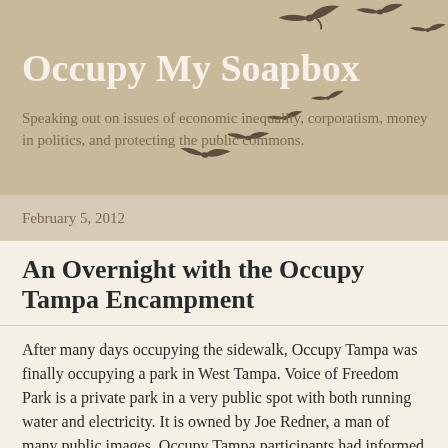Occupy My Soapbox
Speaking out on issues of economic inequality, corporatism, money in politics, and protecting the public commons.
February 5, 2012
An Overnight with the Occupy Tampa Encampment
After many days occupying the sidewalk, Occupy Tampa was finally occupying a park in West Tampa. Voice of Freedom Park is a private park in a very public spot with both running water and electricity. It is owned by Joe Redner, a man of many public images. Occupy Tampa participants had informed me that he is both a strip-club king and a first amendment activist. As a donor to Occupy Tampa, I'd say that paints a picture of a very colorful man. Speaking of color, all sidewalks into the Occupy Tampa